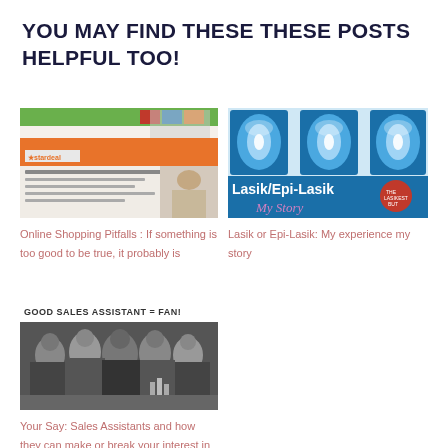YOU MAY FIND THESE THESE POSTS HELPFUL TOO!
[Figure (screenshot): Screenshot of an online shopping deal page showing Urban Decay product discount on a deal website]
Online Shopping Pitfalls : If something is too good to be true, it probably is
[Figure (photo): Promotional image for Lasik/Epi-Lasik story showing blue eye-related graphics with text 'Lasik/Epi-Lasik My Story']
Lasik or Epi-Lasik: My experience my story
[Figure (photo): Black and white photo of people at a store counter with text 'GOOD SALES ASSISTANT = FAN!' overlaid at top]
Your Say: Sales Assistants and how they can make or break your interest in a brand